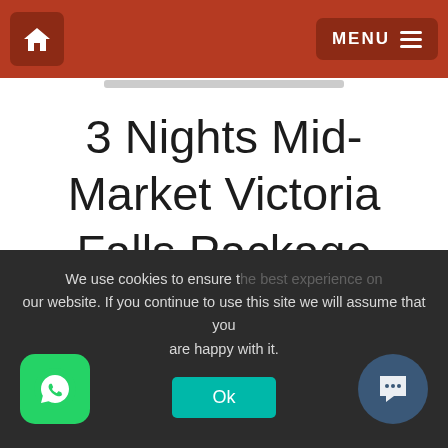Home | MENU
3 Nights Mid-Market Victoria Falls Package
Victoria Falls, Zimbabwe
4 Days
[Figure (screenshot): Popup card with safari logo and text: Start Planning your next Tailor-Made African Safari. with a close (x) button.]
We use cookies to ensure that we give you the best experience on our website. If you continue to use this site we will assume that you are happy with it.
Ok